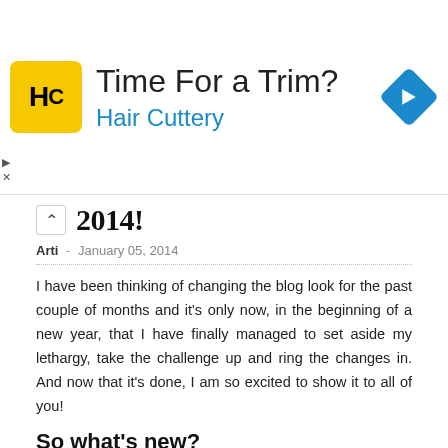[Figure (screenshot): Advertisement banner for Hair Cuttery with yellow logo, 'Time For a Trim?' headline, blue 'Hair Cuttery' text, and a blue diamond-shaped navigation arrow icon on the right.]
2014!
Arti  -  January 05, 2014
I have been thinking of changing the blog look for the past couple of months and it's only now, in the beginning of a new year, that I have finally managed to set aside my lethargy, take the challenge up and ring the changes in. And now that it's done, I am so excited to show it to all of you!
So what's new?
The overall width of the blog has now increased as a result of which we will be able to see bigger images in the posts hence forth.